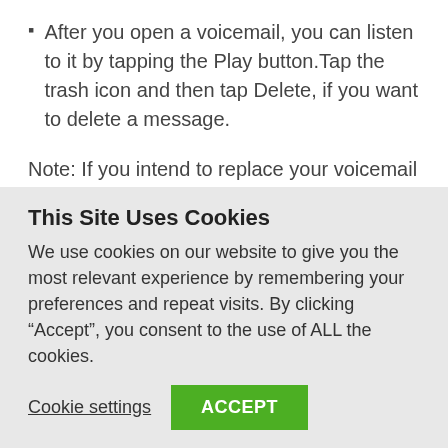After you open a voicemail, you can listen to it by tapping the Play button.Tap the trash icon and then tap Delete, if you want to delete a message.
Note: If you intend to replace your voicemail password right from the Visual Voicemail app, hit the menu icon and move to Settings.
The next action is to press Change Password and input your existing password. You'll be instructed to enter your new password twice. Hit OK to confirm.
This Site Uses Cookies
We use cookies on our website to give you the most relevant experience by remembering your preferences and repeat visits. By clicking “Accept”, you consent to the use of ALL the cookies.
Cookie settings   ACCEPT